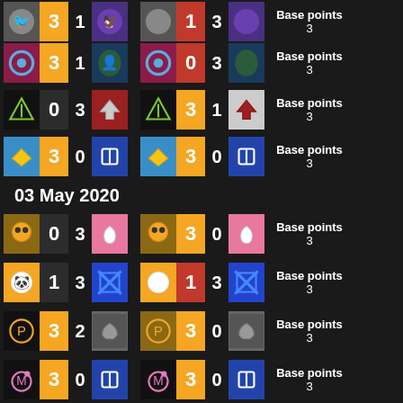[Figure (infographic): Esports match results table showing team logos, scores, and base points for multiple matches on and around 03 May 2020]
Base points 3 (row 1)
Base points 3 (row 2)
Base points 3 (row 3)
Base points 3 (row 4)
03 May 2020
Base points 3 (row 5)
Base points 3 (row 6)
Base points 3 (row 7)
Base points 3 (row 8)